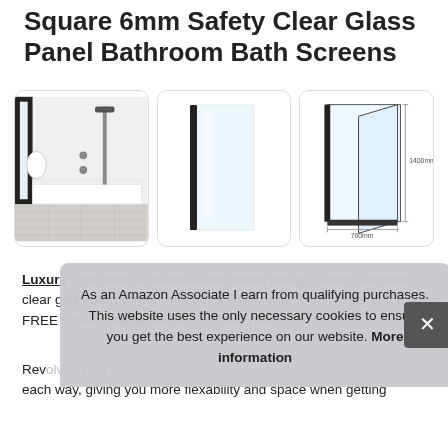Square 6mm Safety Clear Glass Panel Bathroom Bath Screens
[Figure (photo): Three product images: 1) bathroom scene with white bath and black shower fixtures, 2) single frameless glass panel with black edge profile, 3) technical line drawing showing dimensions 1400mm height and 760mm width]
Luxura - Includes: a practical and stylish design; luxury frameless clear glass bath screen with black wall profile. Guarantee: fantastic FREE 5 Year Guarantee for complete peace
Rev... your... each way, giving you more flexability and space when getting
As an Amazon Associate I earn from qualifying purchases. This website uses the only necessary cookies to ensure you get the best experience on our website. More information